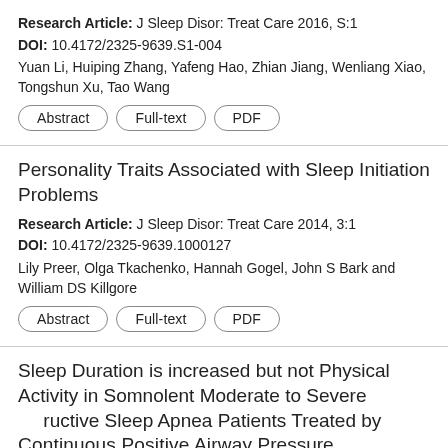Research Article: J Sleep Disor: Treat Care 2016, S:1
DOI: 10.4172/2325-9639.S1-004
Yuan Li, Huiping Zhang, Yafeng Hao, Zhian Jiang, Wenliang Xiao, Tongshun Xu, Tao Wang
Personality Traits Associated with Sleep Initiation Problems
Research Article: J Sleep Disor: Treat Care 2014, 3:1
DOI: 10.4172/2325-9639.1000127
Lily Preer, Olga Tkachenko, Hannah Gogel, John S Bark and William DS Killgore
Sleep Duration is increased but not Physical Activity in Somnolent Moderate to Severe Obstructive Sleep Apnea Patients Treated by Continuous Positive Airway Pressure
Research Article: J Sleep Disor: Treat Care 2015, 4:4
DOI: